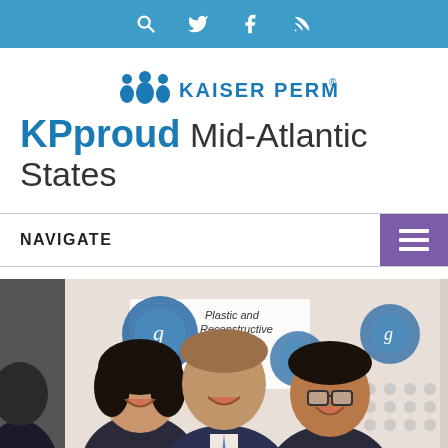Navigation bar with search, twitter, facebook, and RSS icons
[Figure (logo): Kaiser Permanente logo with people icon and text]
KPproud Mid-Atlantic States
NAVIGATE
[Figure (photo): Three smiling people posing in front of a Plastic and Reconstructive Surgery banner/backdrop at a medical conference]